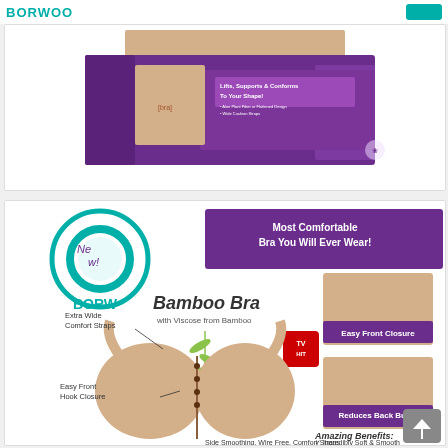BORWOO
[Figure (photo): Product box with purple and white packaging, showing a bra product with text 'Lifts, Supports & Conforms To Your Shape']
[Figure (photo): Bamboo Bra product packaging showing a beige bra with text: 'Most Comfortable Bra You Will Ever Wear!', 'Bamboo Bra with Viscose from Bamboo', 'Extra Wide Comfort Straps', 'Easy Front Hook Closure', 'Easy Front Closure', 'Reduces Back Bulge', 'Amazing Benefits:', 'Incredibly Soft & Smooth', BORW logo and 'New!' badge, TV Hit badge]